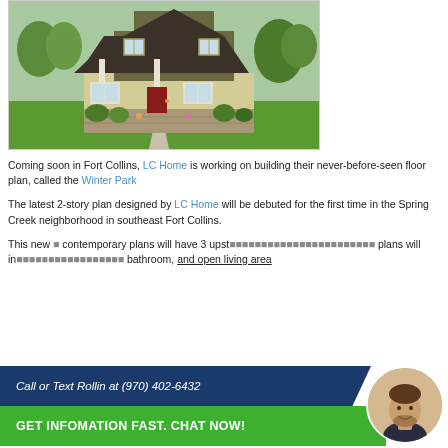[Figure (photo): Exterior rendering of a two-story house with beige/olive siding, red front door, stone accents, covered porch, and landscaped green lawn with trees]
Coming soon in Fort Collins, LC Home is working on building their never-before-seen floor plan, called the Winter Park
The latest 2-story plan designed by LC Home will be debuted for the first time in the Spring Creek neighborhood in southeast Fort Collins.
This new contemporary plans will have 3 upstairs bedrooms, plans will include a master bathroom, and open living area
[Figure (infographic): Blue and green CTA banner overlay with text 'Call or Text Rollin at (970) 402-6432' and 'GET INFOMATION FAST. CHAT NOW!' with a circular photo of a smiling man]